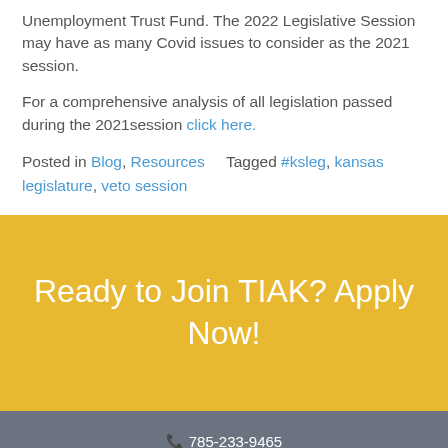Unemployment Trust Fund. The 2022 Legislative Session may have as many Covid issues to consider as the 2021 session.
For a comprehensive analysis of all legislation passed during the 2021session click here.
Posted in Blog, Resources    Tagged #ksleg, kansas legislature, veto session
Ready to Join TIAK? Apply Now!
📞 785-233-9465  825 South Kansas Ave, Suite 502, Topeka KS, 66612